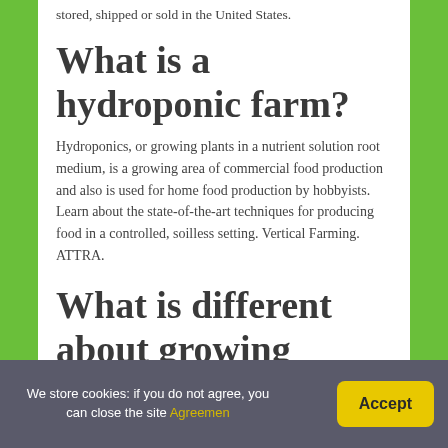stored, shipped or sold in the United States.
What is a hydroponic farm?
Hydroponics, or growing plants in a nutrient solution root medium, is a growing area of commercial food production and also is used for home food production by hobbyists. Learn about the state-of-the-art techniques for producing food in a controlled, soilless setting. Vertical Farming. ATTRA.
What is different about growing
We store cookies: if you do not agree, you can close the site Agreemen